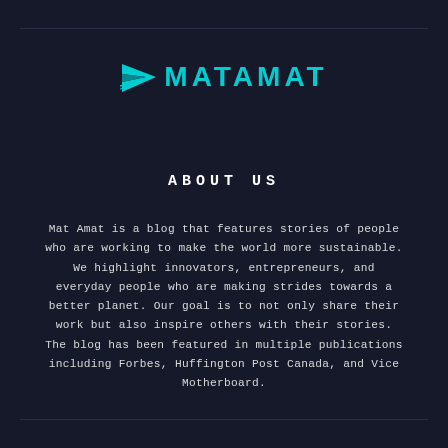[Figure (logo): Matamat logo: teal paper airplane icon followed by teal uppercase text 'MATAMAT']
ABOUT US
Mat Amat is a blog that features stories of people who are working to make the world more sustainable. We highlight innovators, entrepreneurs, and everyday people who are making strides towards a better planet. Our goal is to not only share their work but also inspire others with their stories. The blog has been featured in multiple publications including Forbes, Huffington Post Canada, and Vice Motherboard.